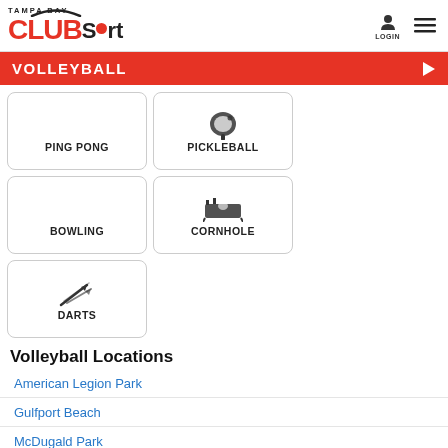[Figure (logo): Tampa Bay ClubSport logo with red CLUB text and Sport in black, with red circular ball in the letter o, and curved arc above]
LOGIN | menu icon
VOLLEYBALL
[Figure (infographic): Sport category tiles: PING PONG (no icon), PICKLEBALL (paddle icon), BOWLING (no icon), CORNHOLE (cornhole board icon), DARTS (darts icon)]
Volleyball Locations
American Legion Park
Gulfport Beach
McDugald Park
The Rec Dec
Upham Beach